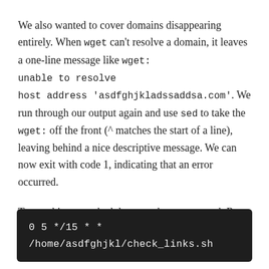We also wanted to cover domains disappearing entirely. When wget can't resolve a domain, it leaves a one-line message like wget: unable to resolve host address 'asdfghjkladssaddsa.com'. We run through our output again and use sed to take the wget: off the front (^ matches the start of a line), leaving behind a nice descriptive message. We can now exit with code 1, indicating that an error occurred.
To run this on a schedule, cron has us covered. Run crontab -e to edit your user's crontab, and add something like this:
[Figure (screenshot): Dark terminal code box showing: 0 5 */15 * * /home/asdfghjkl/check_links.sh]